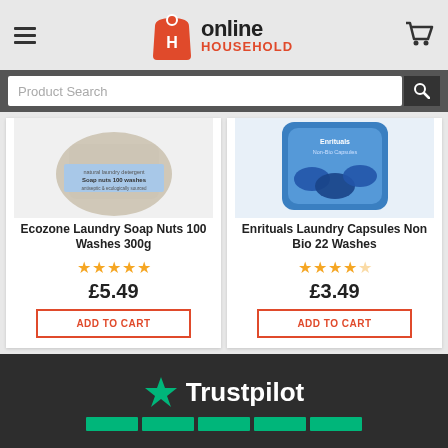[Figure (logo): Online Household logo with red bag icon containing H, 'online' in dark text and 'HOUSEHOLD' in red]
[Figure (screenshot): Product search bar with magnifying glass icon on dark background]
[Figure (photo): Ecozone Laundry Soap Nuts 100 Washes 300g product bag]
Ecozone Laundry Soap Nuts 100 Washes 300g
★★★★★
£5.49
ADD TO CART
[Figure (photo): Enrituals Laundry Capsules Non Bio 22 Washes blue bag]
Enrituals Laundry Capsules Non Bio 22 Washes
★★★★☆
£3.49
ADD TO CART
[Figure (logo): Trustpilot logo with green star and white text on dark background, with green rating bars below]